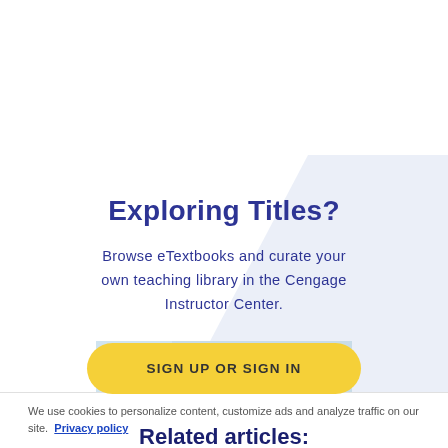Exploring Titles?
Browse eTextbooks and curate your own teaching library in the Cengage Instructor Center.
SIGN UP OR SIGN IN
Related articles:
[Figure (photo): Thumbnail image with text 'Addressing Readiness' and a person's photo on the right side]
We use cookies to personalize content, customize ads and analyze traffic on our site.  Privacy policy